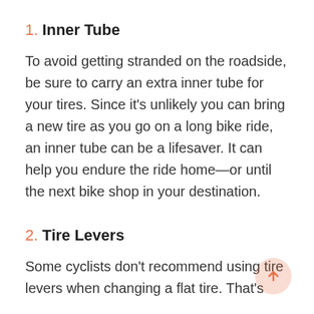1. Inner Tube
To avoid getting stranded on the roadside, be sure to carry an extra inner tube for your tires. Since it’s unlikely you can bring a new tire as you go on a long bike ride, an inner tube can be a lifesaver. It can help you endure the ride home—or until the next bike shop in your destination.
2. Tire Levers
Some cyclists don’t recommend using tire levers when changing a flat tire. That’s